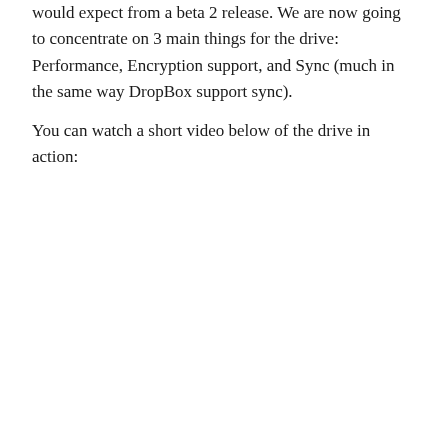would expect from a beta 2 release. We are now going to concentrate on 3 main things for the drive: Performance, Encryption support, and Sync (much in the same way DropBox support sync).
You can watch a short video below of the drive in action: